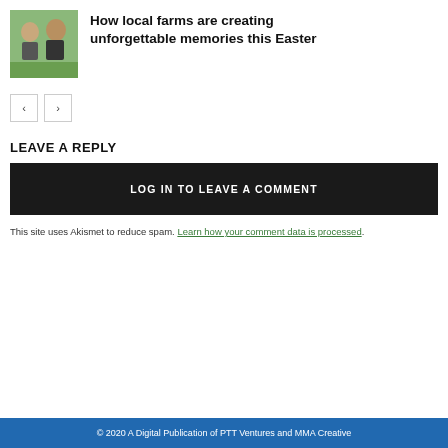[Figure (photo): Photo of two boys outdoors on a farm]
How local farms are creating unforgettable memories this Easter
< >
LEAVE A REPLY
LOG IN TO LEAVE A COMMENT
This site uses Akismet to reduce spam. Learn how your comment data is processed.
© 2020 A Digital Publication of PTT Ventures and MMA Creative